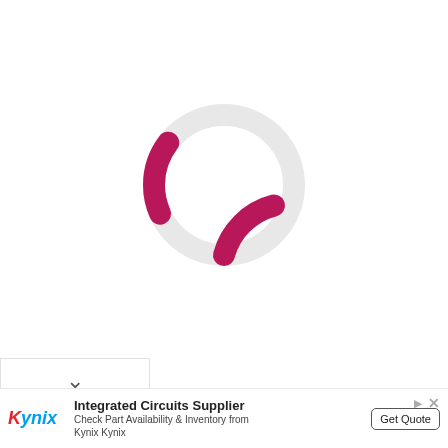[Figure (other): A loading spinner (donut/ring shape) displayed in the center of the page. The ring is mostly light gray, with a magenta/pink colored arc segment in the lower-right portion, indicating a loading or progress state.]
[Figure (other): A UI element: a white panel with a chevron/down-arrow icon, representing a collapsible or expandable section control.]
Integrated Circuits Supplier
Check Part Availability & Inventory from Kynix Kynix
Get Quote